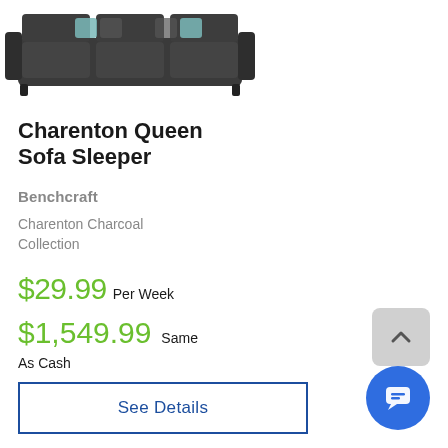[Figure (photo): Photo of a dark charcoal sofa with decorative pillows, viewed from the front]
Charenton Queen Sofa Sleeper
Benchcraft
Charenton Charcoal Collection
$29.99 Per Week
$1,549.99 Same As Cash
See Details